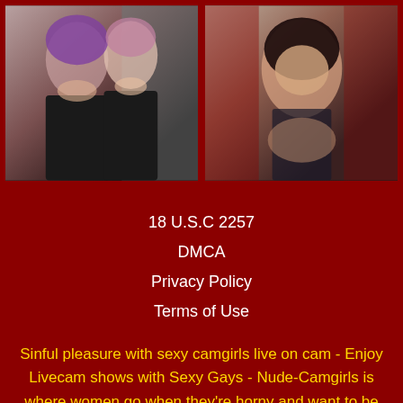[Figure (photo): Two young women with colorful hair, one with purple hair, posing together holding an object, wearing black tops]
[Figure (photo): Young woman with dark hair in black lingerie, posed provocatively]
18 U.S.C 2257
DMCA
Privacy Policy
Terms of Use
Sinful pleasure with sexy camgirls live on cam - Enjoy Livecam shows with Sexy Gays - Nude-Camgirls is where women go when they're horny and want to be told how